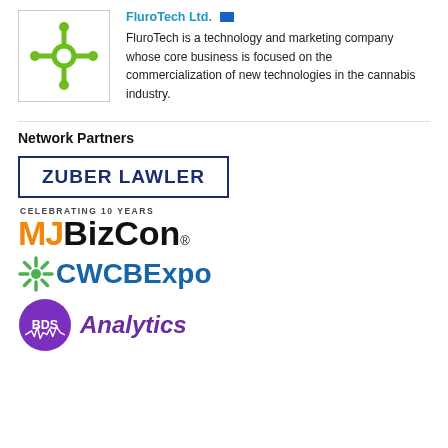[Figure (logo): FluroTech Ltd. logo: green molecular/atom-like symbol with circle and four connection points on white background]
FluroTech Ltd. [flag icon] FluroTech is a technology and marketing company whose core business is focused on the commercialization of new technologies in the cannabis industry.
Network Partners
[Figure (logo): Zuber Lawler logo: bold navy text 'ZUBER LAWLER' inside a navy rectangular border]
[Figure (logo): MJBizCon logo: 'MJ' in orange bold, 'BizCon' in black bold, with registered trademark symbol, above small text 'CELEBRATING 10 YEARS']
[Figure (logo): CWCBExpo logo: green sunburst/cannabis leaf star icon followed by 'CWCBExpo' in blue bold text]
[Figure (logo): BDS Analytics logo: purple circle badge with 'BDS' text and waveform design, followed by 'Analytics' in purple italic text]